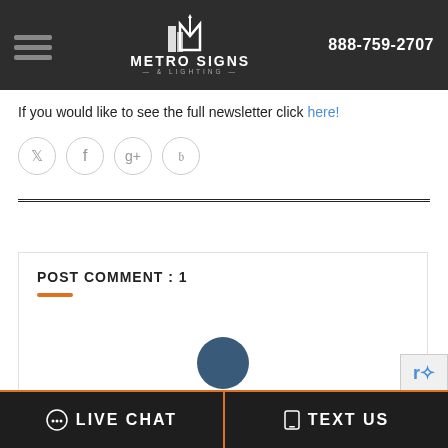Metro Signs & Lighting | 888-759-2707
If you would like to see the full newsletter click here!
[Figure (illustration): Four circular social media icon buttons: Twitter, Facebook, Google+, Pinterest]
[Figure (illustration): Double horizontal divider line]
POST COMMENT : 1
[Figure (illustration): User avatar circle (partial, bottom of comment box) and reCAPTCHA badge]
LIVE CHAT   TEXT US